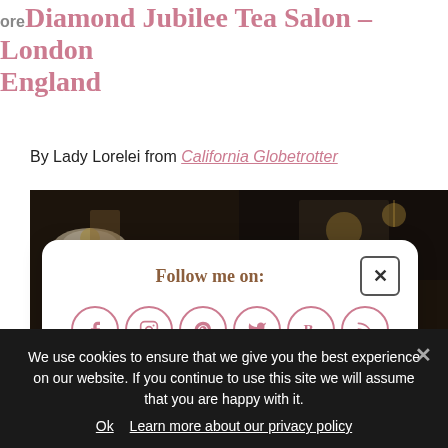Diamond Jubilee Tea Salon – London England
By Lady Lorelei from California Globetrotter
[Figure (photo): Two-panel photo of the interior of Diamond Jubilee Tea Salon, showing pastries and elegant décor in a dark ambiance]
Follow me on:
Or sign up to my newsletter
We use cookies to ensure that we give you the best experience on our website. If you continue to use this site we will assume that you are happy with it.
Ok   Learn more about our privacy policy